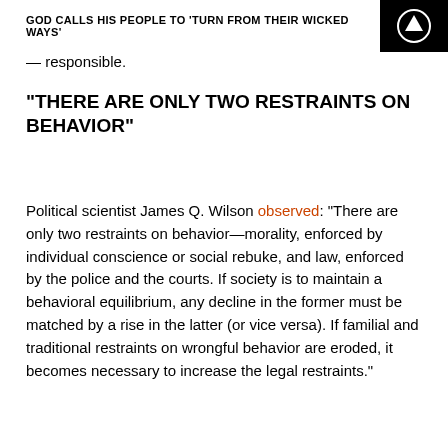GOD CALLS HIS PEOPLE TO 'TURN FROM THEIR WICKED WAYS'
— responsible.
"THERE ARE ONLY TWO RESTRAINTS ON BEHAVIOR"
Political scientist James Q. Wilson observed: “There are only two restraints on behavior—morality, enforced by individual conscience or social rebuke, and law, enforced by the police and the courts. If society is to maintain a behavioral equilibrium, any decline in the former must be matched by a rise in the latter (or vice versa). If familial and traditional restraints on wrongful behavior are eroded, it becomes necessary to increase the legal restraints.”
For decades, our postmodern culture has assured